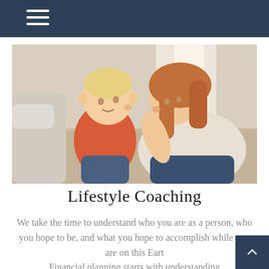Navigation header with hamburger menu
[Figure (photo): A young mother leaning in close nose-to-nose with her toddler dressed in a red turtleneck, both sitting near a bright window on a soft rug.]
Lifestyle Coaching
We take the time to understand who you are as a person, who you hope to be, and what you hope to accomplish while you are on this Earth. Financial planning starts with understanding your priorities and your desired lifestyle.